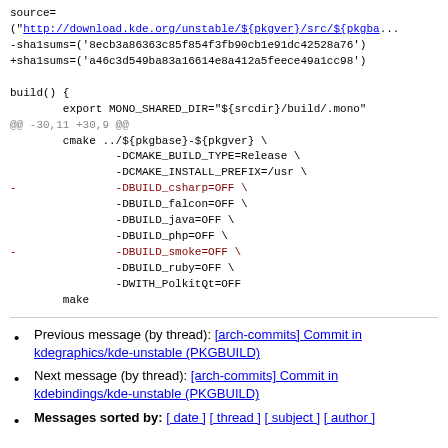source=
("http://download.kde.org/unstable/${pkgver}/src/${pkgba...
-sha1sums=('8ecb3a86363c85f854f3fb90cb1e91dc42528a76')
+sha1sums=('a46c3d549ba83a16614e8a412a5feece49a1cc98')

build() {
        export MONO_SHARED_DIR="${srcdir}/build/.mono"
@@ -30,11 +30,9 @@
        cmake ../${pkgbase}-${pkgver} \
                -DCMAKE_BUILD_TYPE=Release \
                -DCMAKE_INSTALL_PREFIX=/usr \
-               -DBUILD_csharp=OFF \
                -DBUILD_falcon=OFF \
                -DBUILD_java=OFF \
                -DBUILD_php=OFF \
-               -DBUILD_smoke=OFF \
                -DBUILD_ruby=OFF \
                -DWITH_PolkitQt=OFF
        make
Previous message (by thread): [arch-commits] Commit in kdegraphics/kde-unstable (PKGBUILD)
Next message (by thread): [arch-commits] Commit in kdebindings/kde-unstable (PKGBUILD)
Messages sorted by: [ date ] [ thread ] [ subject ] [ author ]